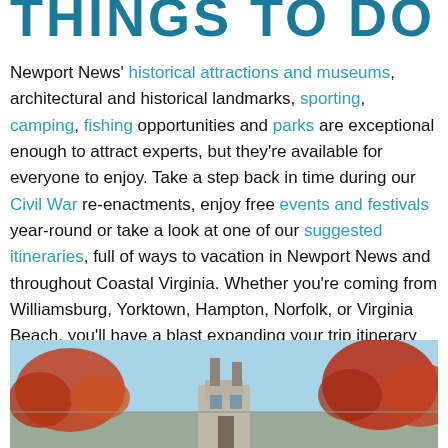THINGS TO DO
Newport News' historical attractions and museums, architectural and historical landmarks, sporting, camping, fishing opportunities and parks are exceptional enough to attract experts, but they're available for everyone to enjoy. Take a step back in time during our Civil War re-enactments, enjoy free events and festivals year-round or take a look at one of our suggested itineraries, full of ways to vacation in Newport News and throughout Coastal Virginia. Whether you're coming from Williamsburg, Yorktown, Hampton, Norfolk, or Virginia Beach, you'll have a blast expanding your trip itinerary with so many fun things to do nearby.
[Figure (photo): Autumn scene with red-leafed trees and a historic building with chimneys against a blue sky, Newport News, Virginia]